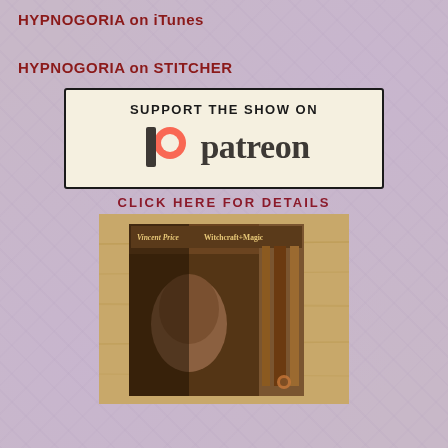HYPNOGORIA on iTunes
HYPNOGORIA on STITCHER
[Figure (logo): Patreon support banner with orange Patreon logo icon and wordmark 'patreon', text above reads 'SUPPORT THE SHOW ON']
CLICK HERE FOR DETAILS
[Figure (photo): Album cover for 'Vincent Price Witchcraft + Magic' showing a dramatic sepia-toned portrait of Vincent Price with the album title text, displayed against a wood-grain background]